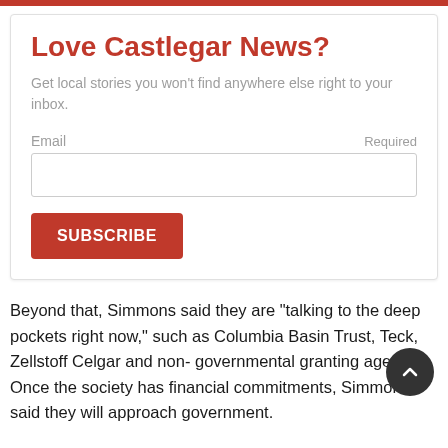Love Castlegar News?
Get local stories you won't find anywhere else right to your inbox.
Email  Required
SUBSCRIBE
Beyond that, Simmons said they are “talking to the deep pockets right now,” such as Columbia Basin Trust, Teck, Zellstoff Celgar and non- governmental granting agencies. Once the society has financial commitments, Simmons said they will approach government.